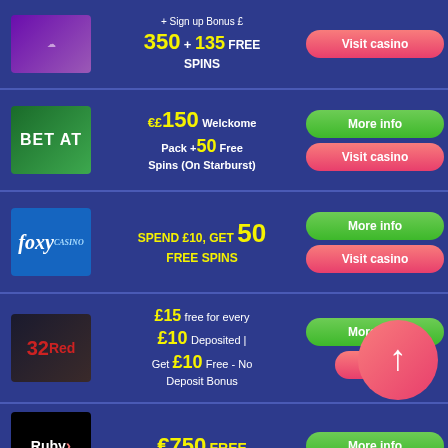| Casino | Offer | Actions |
| --- | --- | --- |
| [logo] | Sign up Bonus £ 350 + 135 FREE SPINS | Visit casino |
| BET AT | ££150 Welckome Pack +50 Free Spins (On Starburst) | More info | Visit casino |
| Foxy Casino | SPEND £10, GET 50 FREE SPINS | More info | Visit casino |
| 32Red | £15 free for every £10 Deposited | Get £10 Free - No Deposit Bonus | More info | Visit casino |
| Ruby | €750 FREE | More info |
[Figure (infographic): Scroll-to-top pink circle button with upward arrow overlaid on the casino comparison table]